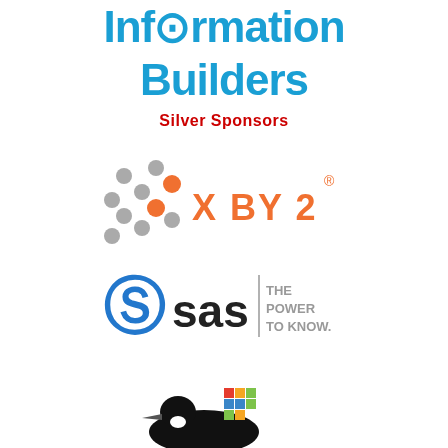[Figure (logo): Information Builders logo in blue text, large stylized letters]
Silver Sponsors
[Figure (logo): X BY 2 logo with orange and gray dots pattern on left and orange text 'X BY 2' with registered trademark symbol]
[Figure (logo): SAS logo with blue swirl S symbol and 'sas' text, plus 'THE POWER TO KNOW.' tagline in gray]
[Figure (logo): Partial logo showing a loon bird with colorful square pixel pattern, partially visible at bottom]